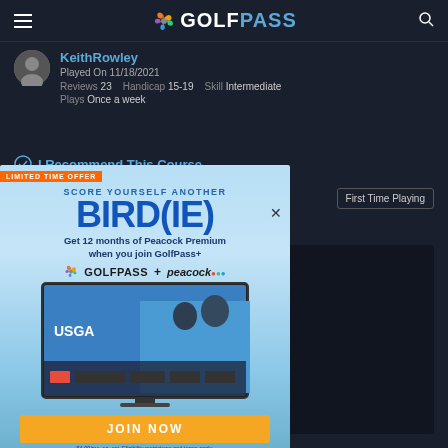GOLFPASS
KeithRowley
Played On 11/18/2021
Reviews 23  Handicap 15-19  Skill Intermediate
Plays Once a week
I Recommend This Course
First Time Playing
[Figure (screenshot): GolfPass promotional overlay ad: 'LIMITED TIME OFFER - SCORE YOURSELF ANOTHER BIRD(IE) - Get 12 months of Peacock Premium when you join GolfPass+' with NBC GolfPass + Peacock logos, TV screenshot showing USGA content, JOIN NOW button, and fine print.]